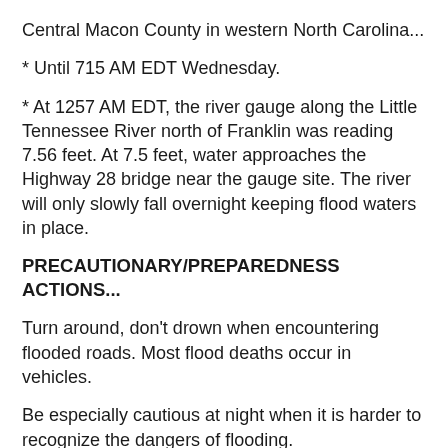Central Macon County in western North Carolina...
* Until 715 AM EDT Wednesday.
* At 1257 AM EDT, the river gauge along the Little Tennessee River north of Franklin was reading 7.56 feet. At 7.5 feet, water approaches the Highway 28 bridge near the gauge site. The river will only slowly fall overnight keeping flood waters in place.
PRECAUTIONARY/PREPAREDNESS ACTIONS...
Turn around, don't drown when encountering flooded roads. Most flood deaths occur in vehicles.
Be especially cautious at night when it is harder to recognize the dangers of flooding.
Heavy rain falling along mountain creeks can cause sudden increases in water flow downstream, even in areas where it is not raining. People participating in outdoor recreation should move away from creeks and small streams.